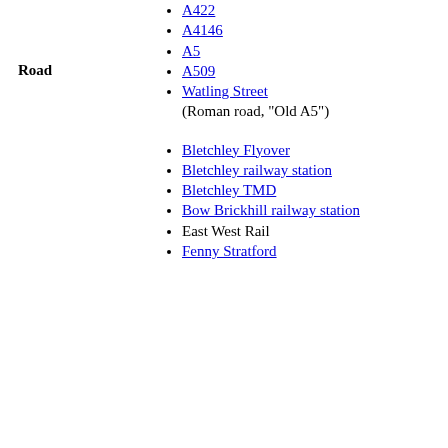A422
A4146
A5
A509
Watling Street (Roman road, "Old A5")
Road
Bletchley Flyover
Bletchley railway station
Bletchley TMD
Bow Brickhill railway station
East West Rail
Fenny Stratford